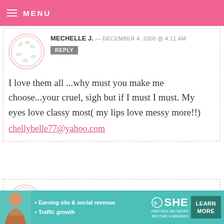MENU
MECHELLE J. — DECEMBER 4, 2008 @ 4:11 AM
REPLY
I love them all ...why must you make me choose...your cruel, sigh but if I must I must. My eyes love classy most( my lips love messy more!!)
chellybelle77@yahoo.com
M — DECEMBER 4, 2008 @ 4:10 AM REPLY
I'd go with messy. The picture of it all
[Figure (infographic): Advertisement banner for SHE PARTNER NETWORK featuring a woman, bullets 'Earning site & social revenue' and 'Traffic growth', SHE logo, and LEARN MORE button]